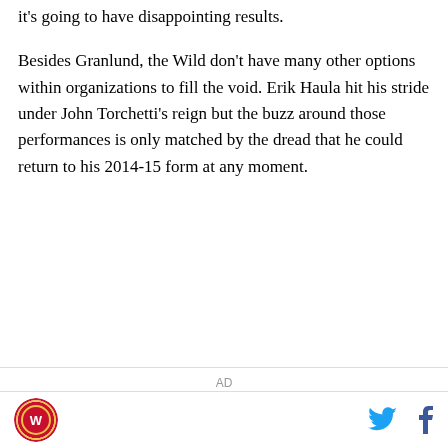it's going to have disappointing results.
Besides Granlund, the Wild don't have many other options within organizations to fill the void. Erik Haula hit his stride under John Torchetti's reign but the buzz around those performances is only matched by the dread that he could return to his 2014-15 form at any moment.
AD
logo and social icons